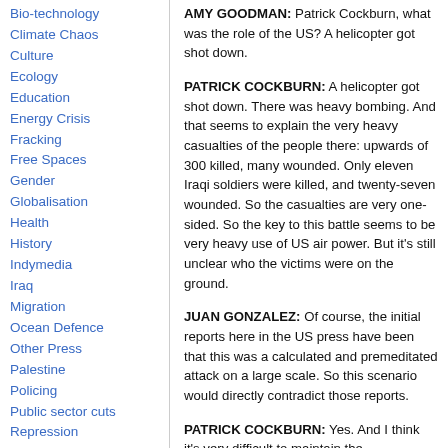Bio-technology
Climate Chaos
Culture
Ecology
Education
Energy Crisis
Fracking
Free Spaces
Gender
Globalisation
Health
History
Indymedia
Iraq
Migration
Ocean Defence
Other Press
Palestine
Policing
Public sector cuts
Repression
Social Struggles
Technology
Terror War
AMY GOODMAN: Patrick Cockburn, what was the role of the US? A helicopter got shot down.
PATRICK COCKBURN: A helicopter got shot down. There was heavy bombing. And that seems to explain the very heavy casualties of the people there: upwards of 300 killed, many wounded. Only eleven Iraqi soldiers were killed, and twenty-seven wounded. So the casualties are very one-sided. So the key to this battle seems to be very heavy use of US air power. But it's still unclear who the victims were on the ground.
JUAN GONZALEZ: Of course, the initial reports here in the US press have been that this was a calculated and premeditated attack on a large scale. So this scenario would directly contradict those reports.
PATRICK COCKBURN: Yes. And I think it's very difficult to maintain the